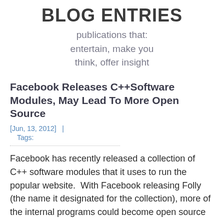BLOG ENTRIES
publications that: entertain, make you think, offer insight
Facebook Releases C++Software Modules, May Lead To More Open Source
[Jun, 13, 2012]   |
Tags:
Facebook has recently released a collection of C++ software modules that it uses to run the popular website.  With Facebook releasing Folly (the name it designated for the collection), more of the internal programs could become open source